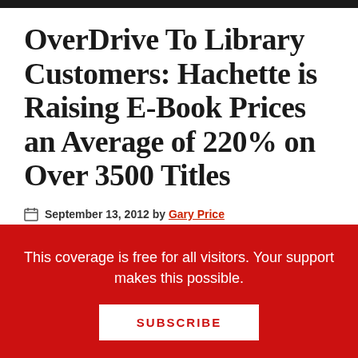OverDrive To Library Customers: Hachette is Raising E-Book Prices an Average of 220% on Over 3500 Titles
September 13, 2012 by Gary Price
UPDATE 5 (September 17, 2012): OverDrive Has
This coverage is free for all visitors. Your support makes this possible.
SUBSCRIBE